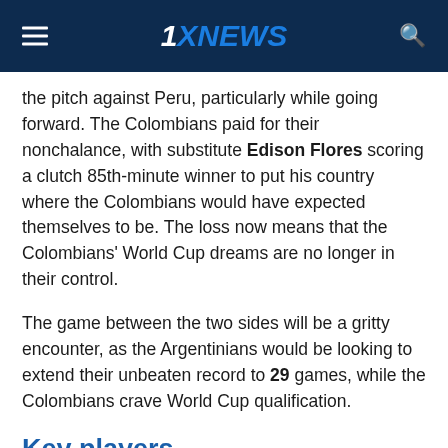1XNEWS
the pitch against Peru, particularly while going forward. The Colombians paid for their nonchalance, with substitute Edison Flores scoring a clutch 85th-minute winner to put his country where the Colombians would have expected themselves to be. The loss now means that the Colombians' World Cup dreams are no longer in their control.
The game between the two sides will be a gritty encounter, as the Argentinians would be looking to extend their unbeaten record to 29 games, while the Colombians crave World Cup qualification.
Key players